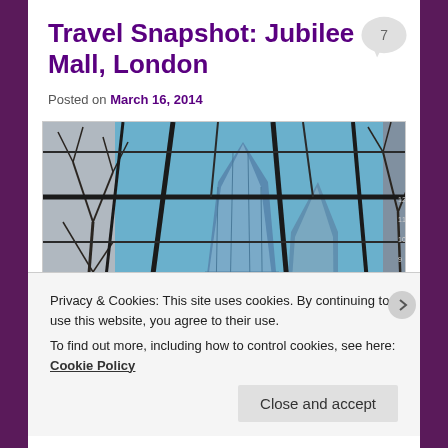Travel Snapshot: Jubilee Mall, London
Posted on March 16, 2014
[Figure (photo): Upward view through a glass skylight ceiling with metal grid frames, showing a tall modern glass skyscraper and bare winter tree branches against a blue sky, taken from inside Jubilee Mall, London.]
Privacy & Cookies: This site uses cookies. By continuing to use this website, you agree to their use.
To find out more, including how to control cookies, see here: Cookie Policy
Close and accept